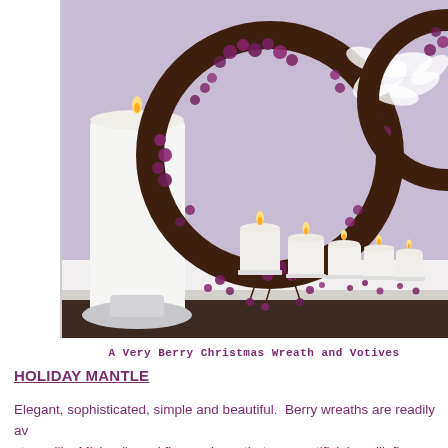[Figure (photo): A holiday mantle decorated with a dark berry wreath, a tall white pillar candle on a silver stand, several small votive candles in clear glass holders, and white silk/artificial floral accents. Scattered dark berries on the white mantle surface.]
A Very Berry Christmas Wreath and Votives
HOLIDAY MANTLE
Elegant, sophisticated, simple and beautiful.  Berry wreaths are readily av... stores like Michael's and flower shops that carry artificial or silk flowers.